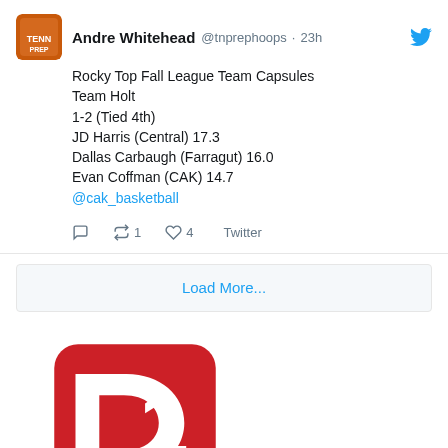[Figure (screenshot): Tweet from Andre Whitehead (@tnprephoops) 23h ago: Rocky Top Fall League Team Capsules, Team Holt, 1-2 (Tied 4th), JD Harris (Central) 17.3, Dallas Carbaugh (Farragut) 16.0, Evan Coffman (CAK) 14.7, @cak_basketball. Actions: reply, retweet 1, like 4, Twitter.]
[Figure (logo): D1 logo — red rounded square with white bold letters D and 1, and a white horizontal bar beneath them, with a registered trademark symbol.]